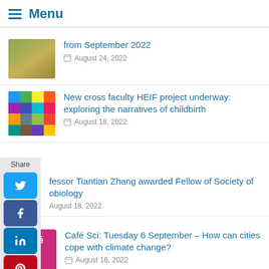Menu
from September 2022 — August 24, 2022
New cross faculty HEIF project underway: exploring the narratives of childbirth — August 18, 2022
Professor Tiantian Zhang awarded Fellow of Society of Microbiology — August 18, 2022
Café Sci: Tuesday 6 September – How can cities cope with climate change? — August 16, 2022